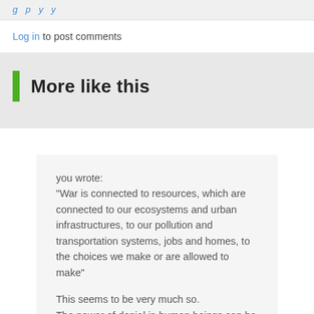g  p  y  y
Log in to post comments
More like this
you wrote:
"War is connected to resources, which are connected to our ecosystems and urban infrastructures, to our pollution and transportation systems, jobs and homes, to the choices we make or are allowed to make"

This seems to be very much so.
The power of denial in human beings can be REAL strong.